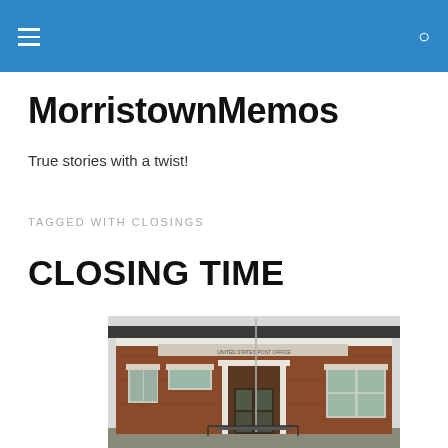MorristownMemos — navigation header with hamburger menu and search icon
MorristownMemos
True stories with a twist!
TAGGED WITH CLOSINGS
CLOSING TIME
[Figure (photo): Exterior photo of a United States Post Office building — a red brick structure with white-trimmed windows and a white columned entrance door, flagpole in front, black metal railing on steps.]